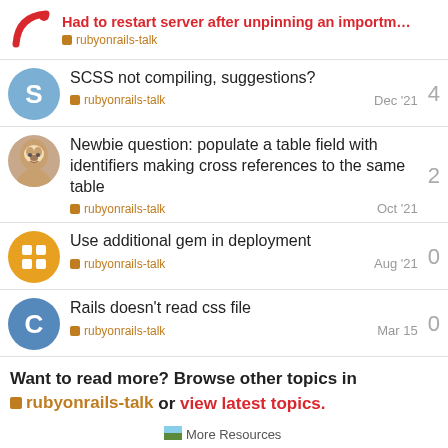Had to restart server after unpinning an importm… rubyonrails-talk
SCSS not compiling, suggestions? rubyonrails-talk Dec '21 4
Newbie question: populate a table field with identifiers making cross references to the same table rubyonrails-talk Oct '21 2
Use additional gem in deployment rubyonrails-talk Aug '21 0
Rails doesn't read css file rubyonrails-talk Mar 15 0
Want to read more? Browse other topics in rubyonrails-talk or view latest topics.
[Figure (logo): More Resources icon with small image]